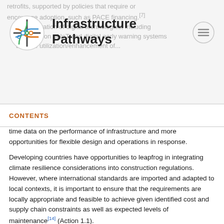Infrastructure Pathways
CONTENTS
time data on the performance of infrastructure and more opportunities for flexible design and operations in response.
Developing countries have opportunities to leapfrog in integrating climate resilience considerations into construction regulations. However, where international standards are imported and adapted to local contexts, it is important to ensure that the requirements are locally appropriate and feasible to achieve given identified cost and supply chain constraints as well as expected levels of maintenance[14] (Action 1.1).
Construction regulations should also be used as a